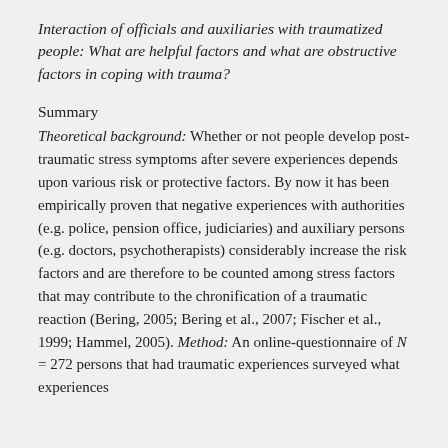Interaction of officials and auxiliaries with traumatized people: What are helpful factors and what are obstructive factors in coping with trauma?
Summary
Theoretical background: Whether or not people develop post-traumatic stress symptoms after severe experiences depends upon various risk or protective factors. By now it has been empirically proven that negative experiences with authorities (e.g. police, pension office, judiciaries) and auxiliary persons (e.g. doctors, psychotherapists) considerably increase the risk factors and are therefore to be counted among stress factors that may contribute to the chronification of a traumatic reaction (Bering, 2005; Bering et al., 2007; Fischer et al., 1999; Hammel, 2005). Method: An online-questionnaire of N = 272 persons that had traumatic experiences surveyed what experiences